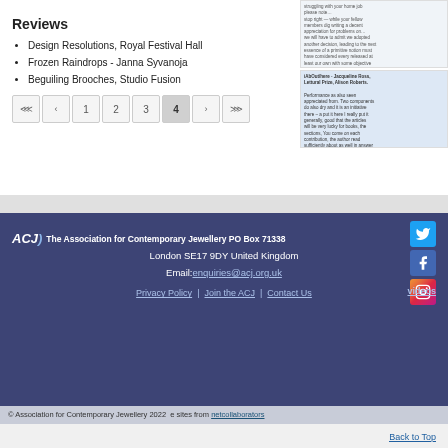Reviews
Design Resolutions, Royal Festival Hall
Frozen Raindrops - Janna Syvanoja
Beguiling Brooches, Studio Fusion
Pagination: 1 2 3 4 (current) — Page 4 of 4
The Association for Contemporary Jewellery PO Box 71338 London SE17 9DY United Kingdom Email: enquiries@acj.org.uk | Privacy Policy | Join the ACJ | Contact Us | videos | © Association for Contemporary Jewellery 2022 | netcollaborators | Back to Top